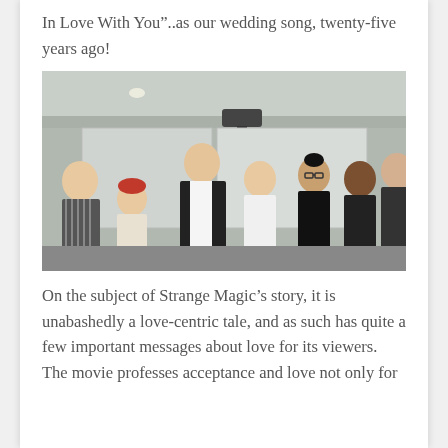In Love With You"..as our wedding song, twenty-five years ago!
[Figure (photo): Group photo of seven people posing together in an indoor setting, with a mix of men and women, some wearing black outfits.]
On the subject of Strange Magic’s story, it is unabashedly a love-centric tale, and as such has quite a few important messages about love for its viewers. The movie professes acceptance and love not only for